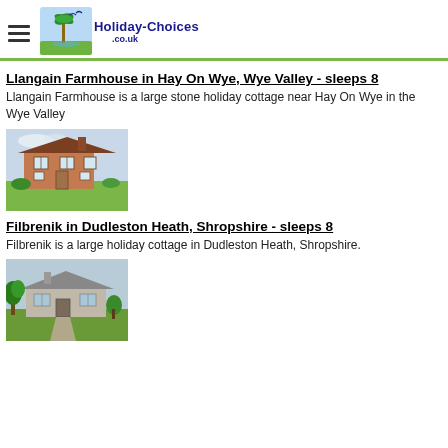Holiday-Choices.co.uk
Llangain Farmhouse in Hay On Wye, Wye Valley - sleeps 8
Llangain Farmhouse is a large stone holiday cottage near Hay On Wye in the Wye Valley
[Figure (photo): Photo of Llangain Farmhouse - a large brick/stone house with gardens]
Filbrenik in Dudleston Heath, Shropshire - sleeps 8
Filbrenik is a large holiday cottage in Dudleston Heath, Shropshire.
[Figure (photo): Photo of Filbrenik - a bungalow with garden and plants in Dudleston Heath]